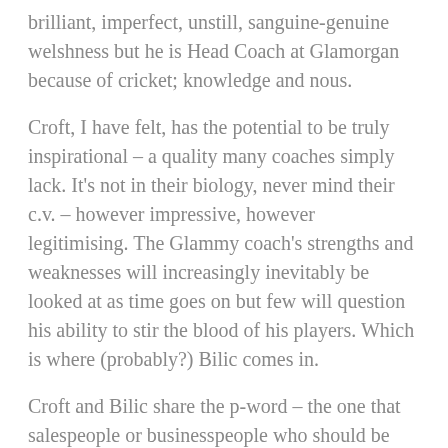brilliant, imperfect, unstill, sanguine-genuine welshness but he is Head Coach at Glamorgan because of cricket; knowledge and nous.
Croft, I have felt, has the potential to be truly inspirational – a quality many coaches simply lack. It's not in their biology, never mind their c.v. – however impressive, however legitimising. The Glammy coach's strengths and weaknesses will increasingly inevitably be looked at as time goes on but few will question his ability to stir the blood of his players. Which is where (probably?) Bilic comes in.
Croft and Bilic share the p-word – the one that salespeople or businesspeople who should be stood against the wall and shot increasingly claim. (Shoot